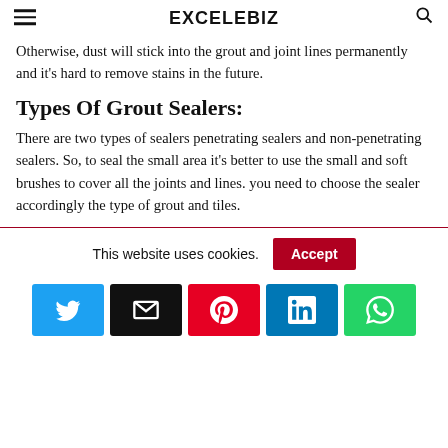EXCELEBIZ
Otherwise, dust will stick into the grout and joint lines permanently and it's hard to remove stains in the future.
Types Of Grout Sealers:
There are two types of sealers penetrating sealers and non-penetrating sealers. So, to seal the small area it's better to use the small and soft brushes to cover all the joints and lines. you need to choose the sealer accordingly the type of grout and tiles.
This website uses cookies.
[Figure (infographic): Cookie consent bar with Accept button and social share buttons for Twitter, Email, Pinterest, LinkedIn, WhatsApp]